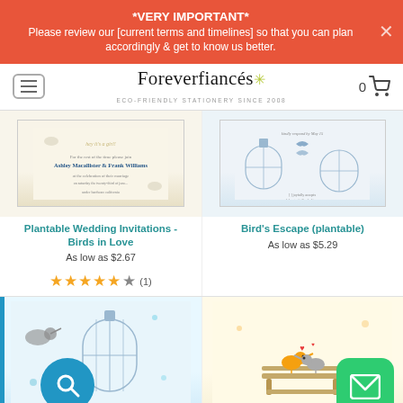*VERY IMPORTANT* Please review our [current terms and timelines] so that you can plan accordingly & get to know us better.
[Figure (screenshot): Foreverfiancés logo with hamburger menu and shopping cart icon showing 0 items]
[Figure (photo): Product image: Plantable Wedding Invitation Birds in Love card]
Plantable Wedding Invitations - Birds in Love
As low as $2.67
[Figure (photo): Product image: Bird's Escape (plantable) invitation with birdcage]
Bird's Escape (plantable)
As low as $5.29
[Figure (other): Star rating: 4.5 stars with (1) review]
[Figure (photo): Bottom product thumbnails: birdcage design and birds on bench design]
[Figure (other): Search button (blue circle with magnifier) and mail button (green rounded square with envelope)]